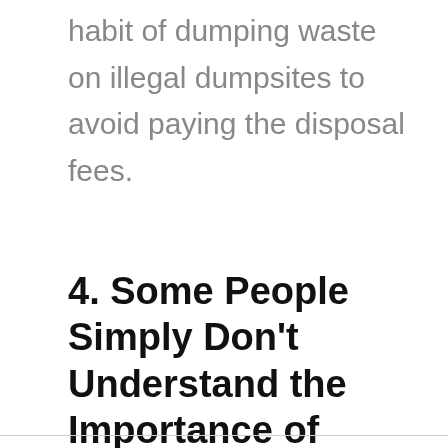habit of dumping waste on illegal dumpsites to avoid paying the disposal fees.
4. Some People Simply Don’t Understand the Importance of Waste Recycling